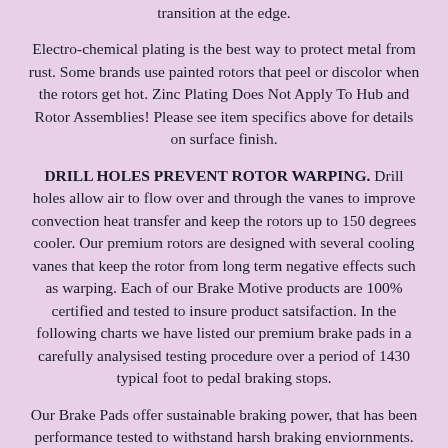transition at the edge.
Electro-chemical plating is the best way to protect metal from rust. Some brands use painted rotors that peel or discolor when the rotors get hot. Zinc Plating Does Not Apply To Hub and Rotor Assemblies! Please see item specifics above for details on surface finish.
DRILL HOLES PREVENT ROTOR WARPING. Drill holes allow air to flow over and through the vanes to improve convection heat transfer and keep the rotors up to 150 degrees cooler. Our premium rotors are designed with several cooling vanes that keep the rotor from long term negative effects such as warping. Each of our Brake Motive products are 100% certified and tested to insure product satsifaction. In the following charts we have listed our premium brake pads in a carefully analysised testing procedure over a period of 1430 typical foot to pedal braking stops.
Our Brake Pads offer sustainable braking power, that has been performance tested to withstand harsh braking enviornments. Our Ceramic and metallic brake pads are leading in the market providing long lasting quality brakes. Our Kinetic ceramic brake pads are top quality for performance and customer expectaions for not only our brand leading performing brakes, but an enduring quiet and more smooth riding experiance. Brakemotive is one of the largest brake supplier in North